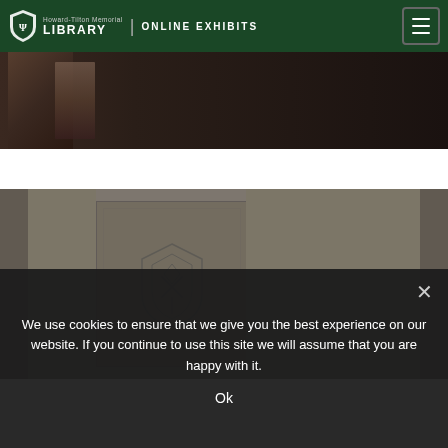Howard-Tilton Memorial Library | Online Exhibits
[Figure (photo): Partial view of a person or object against a dark background — top portion of a photograph]
[Figure (photo): Close-up photograph of an old book cover with embossed decorative emblem on a grey-brown cloth or leather binding]
We use cookies to ensure that we give you the best experience on our website. If you continue to use this site we will assume that you are happy with it.
Ok